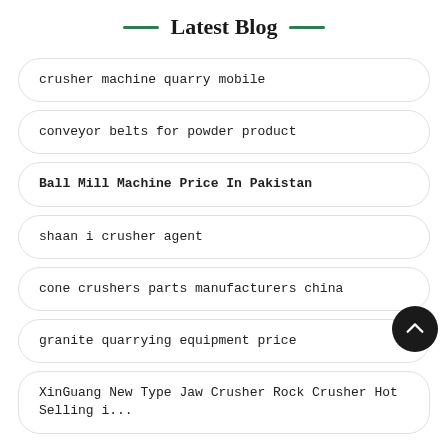Latest Blog
crusher machine quarry mobile
conveyor belts for powder product
Ball Mill Machine Price In Pakistan
shaan i crusher agent
cone crushers parts manufacturers china
granite quarrying equipment price
XinGuang New Type Jaw Crusher Rock Crusher Hot Selling i...